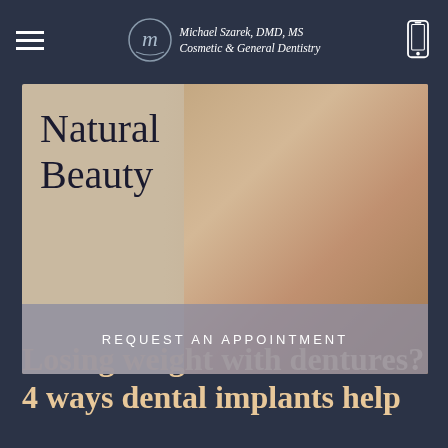Michael Szarek, DMD, MS — Cosmetic & General Dentistry
[Figure (photo): Hero banner image of a smiling woman with text 'Natural Beauty' overlaid on the left side, and a 'REQUEST AN APPOINTMENT' button at the bottom]
Losing weight with dentures? 4 ways dental implants help